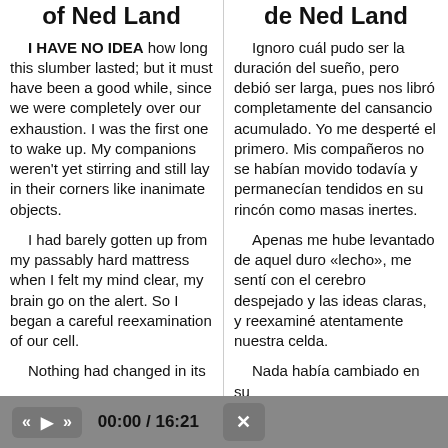The Tantrums of Ned Land
Los arrebatos de Ned Land
I HAVE NO IDEA how long this slumber lasted; but it must have been a good while, since we were completely over our exhaustion. I was the first one to wake up. My companions weren't yet stirring and still lay in their corners like inanimate objects.
Ignoro cuál pudo ser la duración del sueño, pero debió ser larga, pues nos libró completamente del cansancio acumulado. Yo me desperté el primero. Mis compañeros no se habían movido todavía y permanecían tendidos en su rincón como masas inertes.
I had barely gotten up from my passably hard mattress when I felt my mind clear, my brain go on the alert. So I began a careful reexamination of our cell.
Apenas me hube levantado de aquel duro «lecho», me sentí con el cerebro despejado y las ideas claras, y reexaminé atentamente nuestra celda.
Nothing had changed in its
Nada había cambiado en su
00:00 / 16:21